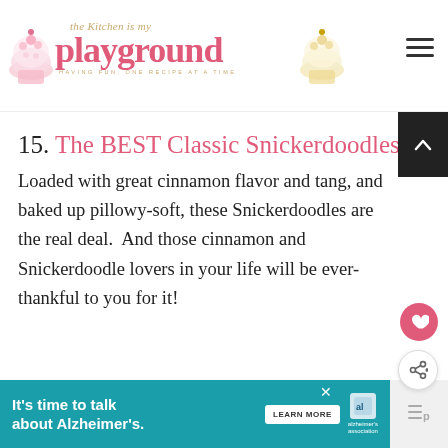The Kitchen is my Playground — HAVING FUN, ONE RECIPE AT A TIME
15. The BEST Classic Snickerdoodles
Loaded with great cinnamon flavor and tang, and baked up pillowy-soft, these Snickerdoodles are the real deal.  And those cinnamon and Snickerdoodle lovers in your life will be ever-thankful to you for it!
WHAT'S NEXT → 20+ Sweet Treats for Yo...
It's time to talk about Alzheimer's. LEARN MORE